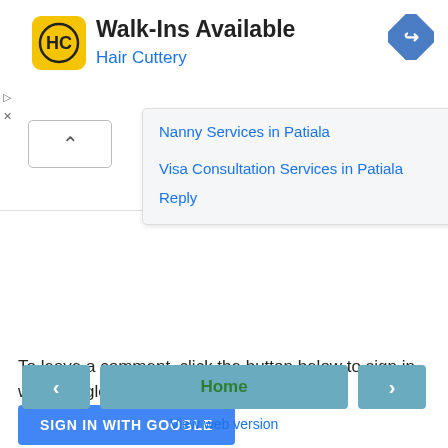[Figure (screenshot): Hair Cuttery ad banner with yellow logo, Walk-Ins Available heading, blue navigation arrow icon, and ad controls]
Nanny Services in Patiala
Visa Consultation Services in Patiala
Reply
To leave a comment, click the button below to sign in with Google.
SIGN IN WITH GOOGLE
Home
View web version